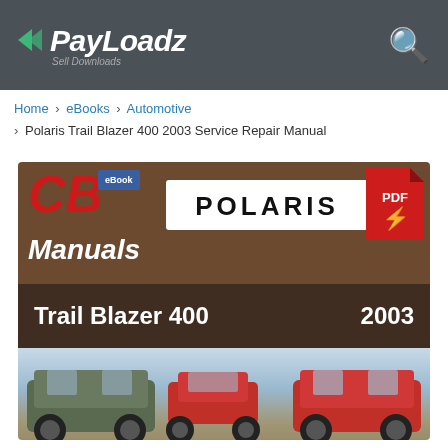PayLoadz - Sell Downloads
Home › eBooks › Automotive › Polaris Trail Blazer 400 2003 Service Repair Manual
[Figure (photo): Product listing image for Polaris Trail Blazer 400 2003 Service Repair Manual. Shows CB Manuals branding with eBook badge, Polaris logo, PDF icon, title 'Trail Blazer 400' and year '2003', and three Polaris off-road vehicles (side-by-side, ATV, and RZR) in an outdoor rocky terrain setting.]